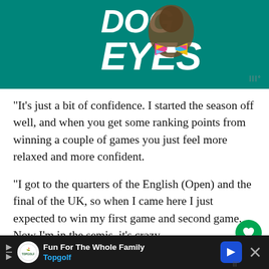[Figure (illustration): Advertisement banner with teal background showing dog with colorful bow tie and text 'DOG EYES' in large white bold italic letters]
“It’s just a bit of confidence. I started the season off well, and when you get some ranking points from winning a couple of games you just feel more relaxed and more confident.
“I got to the quarters of the English (Open) and the final of the UK, so when I came here I just expected to win my first game and second game. Now I’m in the semis, it’s crazy.
“I know what I can do, I’ve had some trouble w… my cues and stuff like that. Now I just feel like I’m in…
[Figure (screenshot): Bottom advertisement bar for Topgolf with dark background, Topgolf logo, text 'Fun For The Whole Family / Topgolf', arrow icon, and close button]